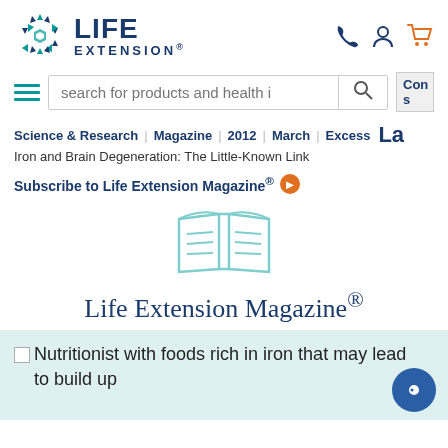[Figure (logo): Life Extension logo with snowflake/geometric icon and bold text LIFE EXTENSION]
search for products and health i
Science & Research | Magazine | 2012 | March | Excess La
Iron and Brain Degeneration: The Little-Known Link
Subscribe to Life Extension Magazine®
[Figure (illustration): Open book / magazine icon in light teal outline style]
Life Extension Magazine®
[Figure (photo): Nutritionist with foods rich in iron that may lead to build up]